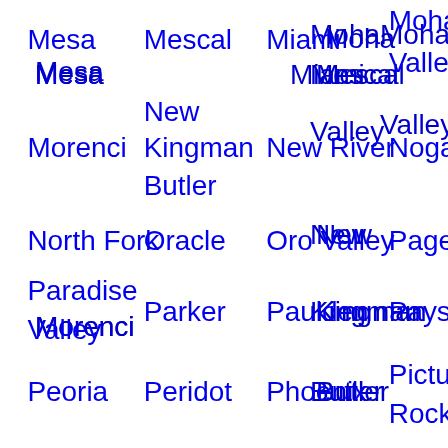Mesa
Mescal
Miami
Mohave Valley
Morenci
New Kingman Butler
New River
Nogales
North Fork
Oracle
Oro Valley
Page
Paradise Valley
Parker
Paulden
Payson
Peoria
Peridot
Phoenix
Picture Rocks
Pineton
Pinot